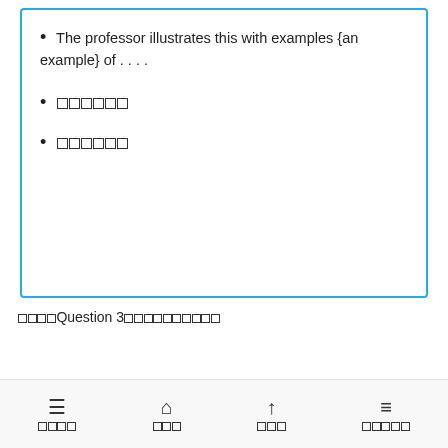• The professor illustrates this with examples {an example} of . . . .
• [CJK characters]
• [CJK characters]
[CJK] Question 3 [CJK characters]
[CJK characters]
[CJK characters] 2 ETS Quick Prep, vol. 4 [CJK characters]
[nav bar: menu, home, up, list]